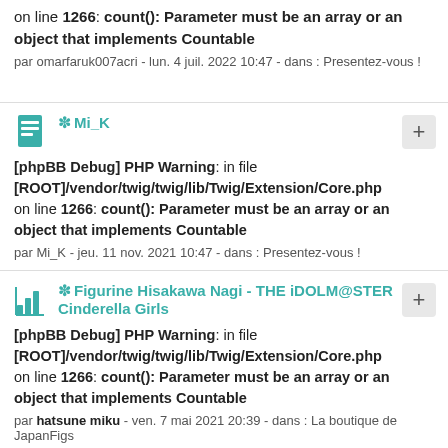on line 1266: count(): Parameter must be an array or an object that implements Countable
par omarfaruk007acri - lun. 4 juil. 2022 10:47 - dans : Presentez-vous !
* Mi_K
[phpBB Debug] PHP Warning: in file [ROOT]/vendor/twig/twig/lib/Twig/Extension/Core.php on line 1266: count(): Parameter must be an array or an object that implements Countable
par Mi_K - jeu. 11 nov. 2021 10:47 - dans : Presentez-vous !
* Figurine Hisakawa Nagi - THE iDOLM@STER Cinderella Girls
[phpBB Debug] PHP Warning: in file [ROOT]/vendor/twig/twig/lib/Twig/Extension/Core.php on line 1266: count(): Parameter must be an array or an object that implements Countable
par hatsune miku - ven. 7 mai 2021 20:39 - dans : La boutique de JapanFigs